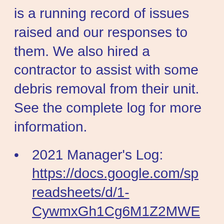See our manager's log, which is a running record of issues raised and our responses to them. We also hired a contractor to assist with some debris removal from their unit. See the complete log for more information.
2021 Manager's Log: https://docs.google.com/spreadsheets/d/1-CywmxGh1Cg6M1Z2MWEsehiUCp7BuiviyK-_LDsA2Lo/edit?usp=sharing
1st Notice Posted to